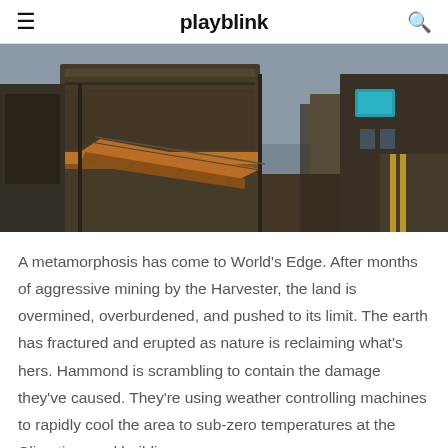playblink
[Figure (screenshot): Screenshot of a sci-fi/industrial game environment showing large mechanical structures, metal walkways, and industrial buildings with a dramatic sky backdrop. Game environment from Apex Legends World's Edge map.]
A metamorphosis has come to World's Edge. After months of aggressive mining by the Harvester, the land is overmined, overburdened, and pushed to its limit. The earth has fractured and erupted as nature is reclaiming what's hers. Hammond is scrambling to contain the damage they've caused. They're using weather controlling machines to rapidly cool the area to sub-zero temperatures at the Climatizer and building a